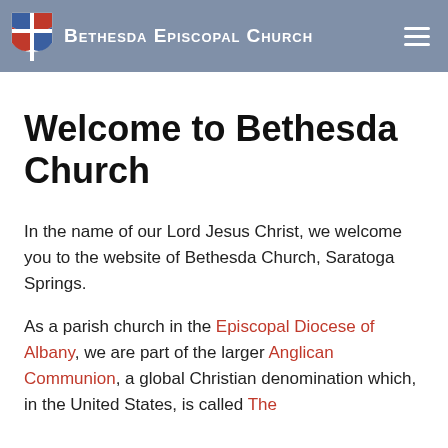Bethesda Episcopal Church
Welcome to Bethesda Church
In the name of our Lord Jesus Christ, we welcome you to the website of Bethesda Church, Saratoga Springs.
As a parish church in the Episcopal Diocese of Albany, we are part of the larger Anglican Communion, a global Christian denomination which, in the United States, is called The